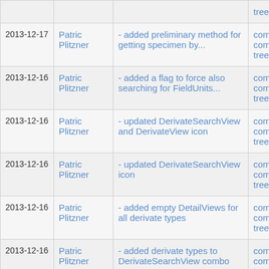| Date | Author | Message | Links |
| --- | --- | --- | --- |
|  |  | tree |  |
| 2013-12-17 | Patric Plitzner | - added preliminary method for getting specimen by... | commit | commitdiff | tree |
| 2013-12-16 | Patric Plitzner | - added a flag to force also searching for FieldUnits... | commit | commitdiff | tree |
| 2013-12-16 | Patric Plitzner | - updated DerivateSearchView and DerivateView icon | commit | commitdiff | tree |
| 2013-12-16 | Patric Plitzner | - updated DerivateSearchView icon | commit | commitdiff | tree |
| 2013-12-16 | Patric Plitzner | - added empty DetailViews for all derivate types | commit | commitdiff | tree |
| 2013-12-16 | Patric Plitzner | - added derivate types to DerivateSearchView combo | commit | commitdiff | tree |
| 2013-12-16 | Patric Plitzner | - fixed bug when creating another DerivateElement... | commit | commitdiff | |